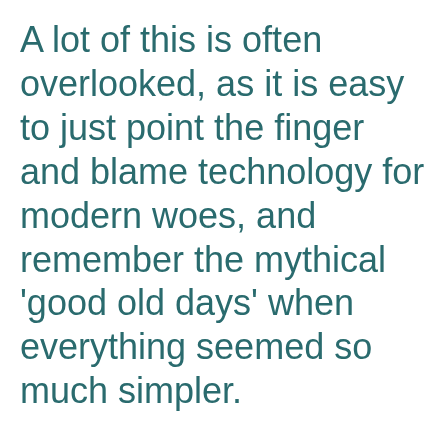A lot of this is often overlooked, as it is easy to just point the finger and blame technology for modern woes, and remember the mythical 'good old days' when everything seemed so much simpler.
We use cookies on our website to give you the most relevant experience by remembering your preferences and repeat visits. By clicking "Accept All", you consent to the use of ALL the cookies. However, you may visit "Cookie Settings" to provide a controlled consent.